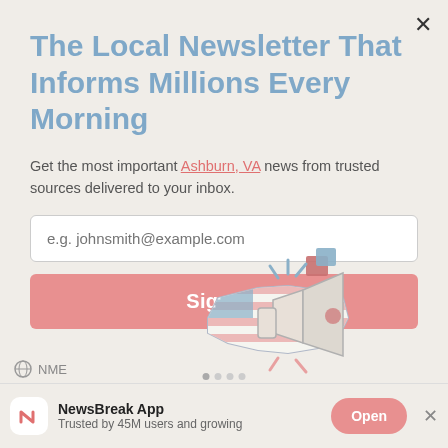The Local Newsletter That Informs Millions Every Morning
Get the most important Ashburn, VA news from trusted sources delivered to your inbox.
[Figure (illustration): Illustrated graphic of a megaphone/loudspeaker overlaid on a stylized US map with American flag pattern, with speech/notification icons above it]
NME
NewsBreak App
Trusted by 45M users and growing